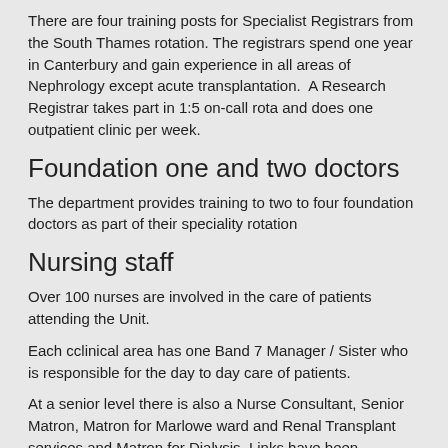There are four training posts for Specialist Registrars from the South Thames rotation. The registrars spend one year in Canterbury and gain experience in all areas of Nephrology except acute transplantation.  A Research Registrar takes part in 1:5 on-call rota and does one outpatient clinic per week.
Foundation one and two doctors
The department provides training to two to four foundation doctors as part of their speciality rotation
Nursing staff
Over 100 nurses are involved in the care of patients attending the Unit.
Each cclinical area has one Band 7 Manager / Sister who is responsible for the day to day care of patients.
At a senior level there is also a Nurse Consultant, Senior Matron, Matron for Marlowe ward and Renal Transplant services and Matron for Dialysis. Links have been